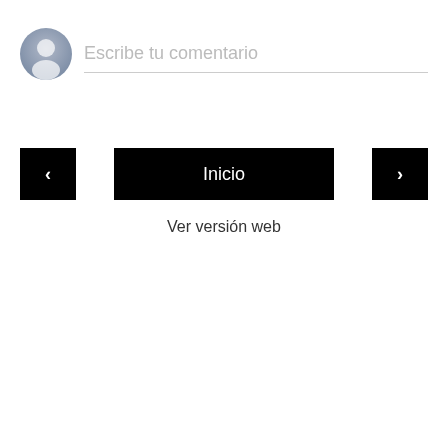[Figure (illustration): User avatar icon (silhouette of a person in a gray circle) next to a comment input field with placeholder text 'Escribe tu comentario' and a bottom border]
Escribe tu comentario
[Figure (screenshot): Navigation row with three black buttons: left arrow '<', center 'Inicio', and right arrow '>']
Ver versión web